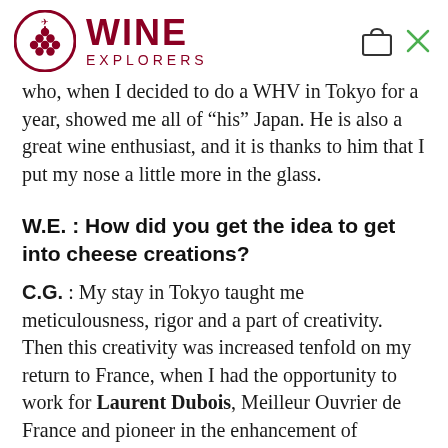WINE EXPLORERS
who, when I decided to do a WHV in Tokyo for a year, showed me all of “his” Japan. He is also a great wine enthusiast, and it is thanks to him that I put my nose a little more in the glass.
W.E. : How did you get the idea to get into cheese creations?
C.G. : My stay in Tokyo taught me meticulousness, rigor and a part of creativity. Then this creativity was increased tenfold on my return to France, when I had the opportunity to work for Laurent Dubois, Meilleur Ouvrier de France and pioneer in the enhancement of